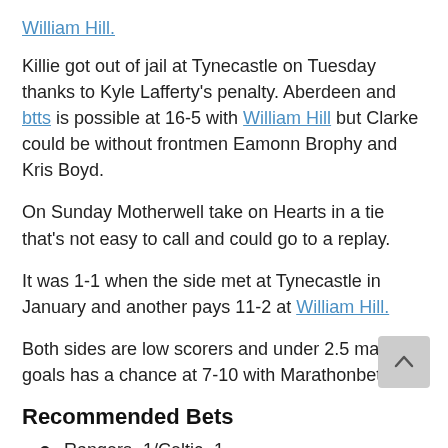William Hill
Killie got out of jail at Tynecastle on Tuesday thanks to Kyle Lafferty's penalty. Aberdeen and btts is possible at 16-5 with William Hill but Clarke could be without frontmen Eamonn Brophy and Kris Boyd.
On Sunday Motherwell take on Hearts in a tie that's not easy to call and could go to a replay.
It was 1-1 when the side met at Tynecastle in January and another pays 11-2 at William Hill.
Both sides are low scorers and under 2.5 match goals has a chance at 7-10 with Marathonbet.
Recommended Bets
Rangers -1/Celtic -1
Forrest to score first